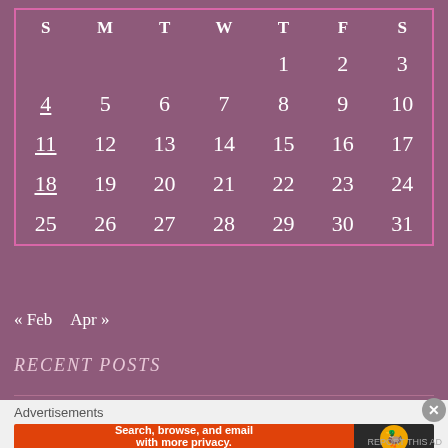| S | M | T | W | T | F | S |
| --- | --- | --- | --- | --- | --- | --- |
|  |  |  |  | 1 | 2 | 3 |
| 4 | 5 | 6 | 7 | 8 | 9 | 10 |
| 11 | 12 | 13 | 14 | 15 | 16 | 17 |
| 18 | 19 | 20 | 21 | 22 | 23 | 24 |
| 25 | 26 | 27 | 28 | 29 | 30 | 31 |
« Feb   Apr »
RECENT POSTS
Advertisements
Search, browse, and email with more privacy. All in One Free App